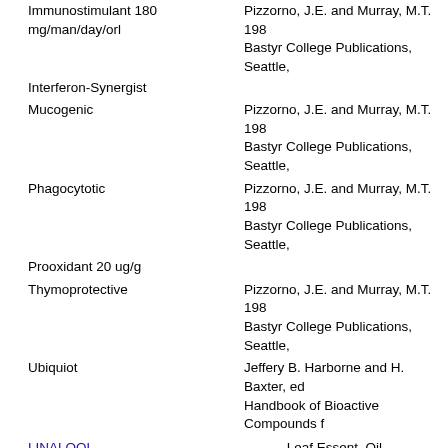Immunostimulant 180 mg/man/day/orl
Pizzorno, J.E. and Murray, M.T. 1985. Bastyr College Publications, Seattle,
Interferon-Synergist
Mucogenic
Pizzorno, J.E. and Murray, M.T. 1985. Bastyr College Publications, Seattle,
Phagocytotic
Pizzorno, J.E. and Murray, M.T. 1985. Bastyr College Publications, Seattle,
Prooxidant 20 ug/g
Thymoprotective
Pizzorno, J.E. and Murray, M.T. 1985. Bastyr College Publications, Seattle,
Ubiquiot
Jeffery B. Harborne and H. Baxter, eds. Handbook of Bioactive Compounds f
LINALOOL
Leaf Essent. Oil  -
Activities (53)
Acaricide C90=<15 ul/l (=<15 ppm
Allergenic
Analgesic
Anesthetic 0.01-1 ug/ml
Antiacetylcholinesterase
Antiallergic
Huang, K. C. 1993. The Pharmacol Raton, FL. 388 pp.